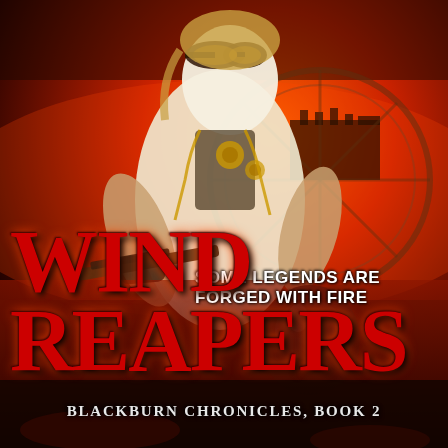[Figure (illustration): Book cover illustration of a steampunk female warrior character wearing goggles on her head, leather armor with brass gears and chains, holding weapons, against a dramatic red and orange fiery sky background with a building silhouette in the distance.]
SOME LEGENDS ARE FORGED WITH FIRE
WIND REAPERS
BLACKBURN CHRONICLES, BOOK 2